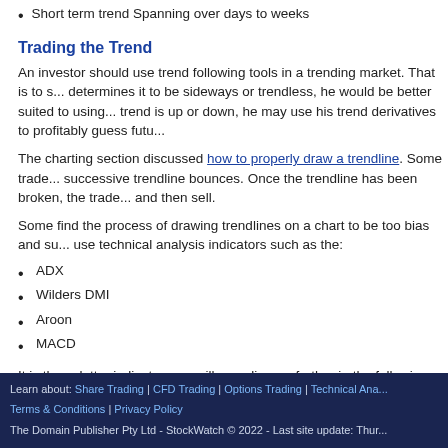Short term trend Spanning over days to weeks
Trading the Trend
An investor should use trend following tools in a trending market. That is to s... determines it to be sideways or trendless, he would be better suited to using... trend is up or down, he may use his trend derivatives to profitably guess futu...
The charting section discussed how to properly draw a trendline. Some trade... successive trendline bounces. Once the trendline has been broken, the trade... and then sell.
Some find the process of drawing trendlines on a chart to be too bias and su... use technical analysis indicators such as the:
ADX
Wilders DMI
Aroon
MACD
It is these latter indicators we will now discuss further in the following articles
Learn about: Share Trading | CFD Trading | Options Trading | Technical Ana... Terms & Conditions | Privacy Policy The Domain Publisher Pty Ltd - StockWatch © 2022 - Last site update: Thur...